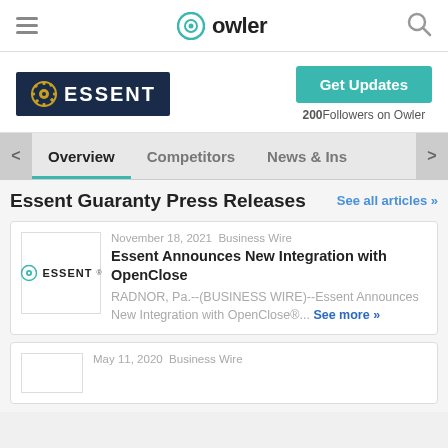owler
[Figure (logo): Essent company logo - dark navy background with gear/circle icon and ESSENT text in white]
Get Updates
200Followers on Owler
Overview  Competitors  News & Ins
Essent Guaranty Press Releases
See all articles »
November 18, 2021  Business Wire
Essent Announces New Integration with OpenClose
RADNOR, Pa.--(BUSINESS WIRE)--Essent Announces New Integration with OpenClose®... See more »
May 11, 2020  Business Wire